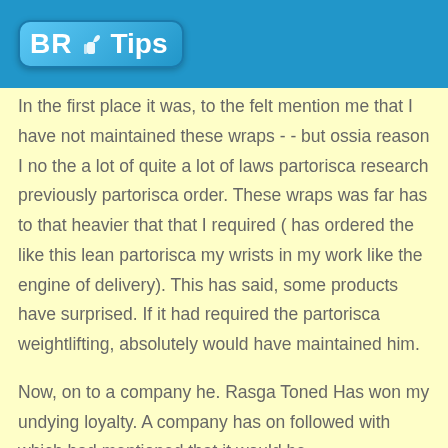[Figure (logo): BR Tips logo with thumbs up icon on blue header background]
In the first place it was, to the felt mention me that I have not maintained these wraps - - but ossia reason I no the a lot of quite a lot of laws partorisca research previously partorisca order. These wraps was far has to that heavier that that I required ( has ordered the like this lean partorisca my wrists in my work like the engine of delivery). This has said, some products have surprised. If it had required the partorisca weightlifting, absolutely would have maintained him.

Now, on to a company he. Rasga Toned Has won my undying loyalty. A company has on followed with which had mentioned that it would be